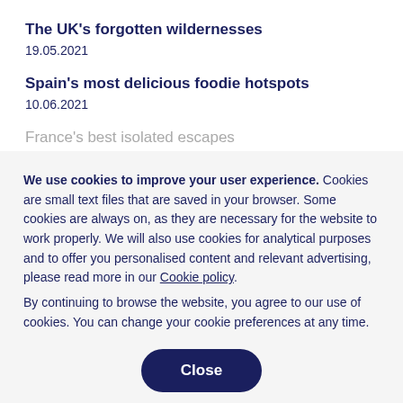The UK's forgotten wildernesses
19.05.2021
Spain's most delicious foodie hotspots
10.06.2021
France's best isolated escapes
We use cookies to improve your user experience. Cookies are small text files that are saved in your browser. Some cookies are always on, as they are necessary for the website to work properly. We will also use cookies for analytical purposes and to offer you personalised content and relevant advertising, please read more in our Cookie policy.
By continuing to browse the website, you agree to our use of cookies. You can change your cookie preferences at any time.
Close
Set your cookie preferences